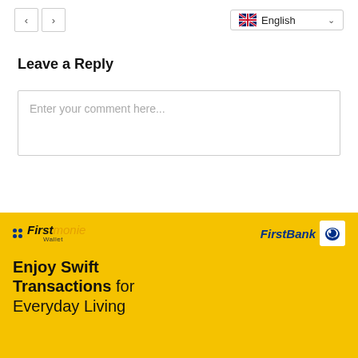Navigation buttons and English language selector
Leave a Reply
Enter your comment here...
[Figure (illustration): FirstMonie Wallet and FirstBank advertisement banner with yellow background. Text reads: Enjoy Swift Transactions for Everyday Living]